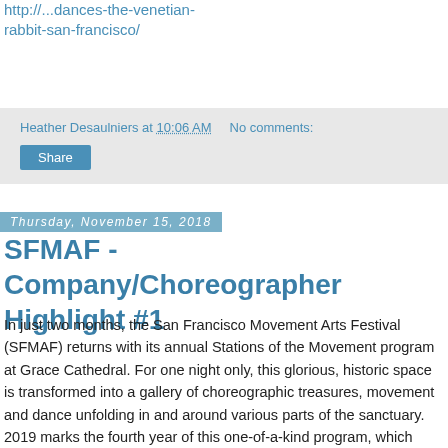http://...rabbit-san-francisco/
Heather Desaulniers at 10:06 AM    No comments:
Share
Thursday, November 15, 2018
SFMAF - Company/Choreographer Highlight #1
In just two months, the San Francisco Movement Arts Festival (SFMAF) returns with its annual Stations of the Movement program at Grace Cathedral. For one night only, this glorious, historic space is transformed into a gallery of choreographic treasures, movement and dance unfolding in and around various parts of the sanctuary. 2019 marks the fourth year of this one-of-a-kind program, which celebrates the depth, breadth and scope within the Bay Area's local dance landscape.